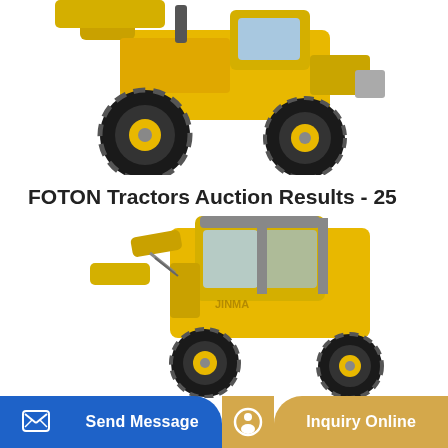[Figure (photo): Yellow front-loader tractor/wheel loader, top portion visible, black tires prominent, cropped at top of page]
FOTON Tractors Auction Results - 25 Listings
Home of Jinma and Foton Tractors Discount Tractor Sales & Service was started in April of 2006. It is operated by John Lea, who has more than 36 years experience in...
Learn More
[Figure (photo): Yellow compact utility tractor with enclosed cab (Jinma brand), partial view, bottom portion of page]
Send Message   Inquiry Online